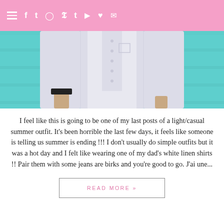≡ f t 𝒊 𝒑 t ▶ ♥ ✉
[Figure (photo): Person wearing a long white linen button-up shirt against a teal/turquoise wall background, with a watch visible on the wrist.]
I feel like this is going to be one of my last posts of a light/casual summer outfit. It's been horrible the last few days, it feels like someone is telling us summer is ending !!! I don't usually do simple outfits but it was a hot day and I felt like wearing one of my dad's white linen shirts !! Pair them with some jeans are birks and you're good to go. J'ai une...
READ MORE »